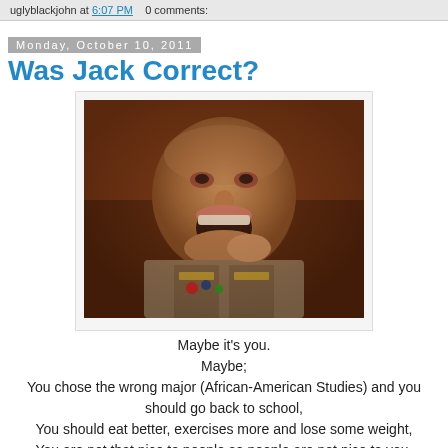uglyblackjohn at 6:07 PM   0 comments:
Monday, October 10, 2011
Was Jack Correct?
[Figure (photo): Man in military uniform shouting with mouth wide open]
Maybe it's you.
Maybe;
You chose the wrong major (African-American Studies) and you should go back to school,
You should eat better, exercises more and lose some weight,
You are not that nice to people so people are not nice to you,
Your traditions and culture are not marketable at every time